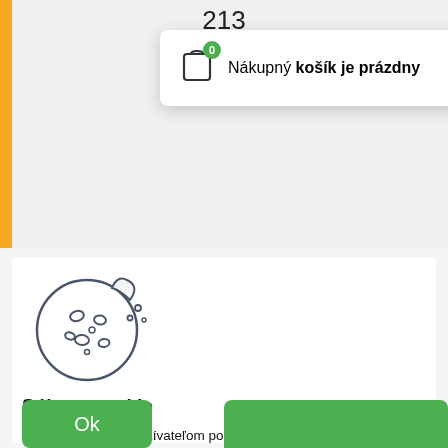213
Nákupný košík je prázdny
[Figure (screenshot): Cookie illustration icon - outline drawing of a cookie with chocolate chips]
Súbory cookie
S cieľom uľahčiť používateľom používať naše webové stránky využívame cookies. Kliknutím na tlačidlo "OK" súhlasíte s použitím preferenčných, štatistických aj marketingových cookies pre nás aj našich partnerov. Funkčné cookies sú v rámci zachovania funkčnosti webu používané počas celej doby prehliadania webom. Podrobné informácie a nastavenia ku cookies nájdete tu.
Ok